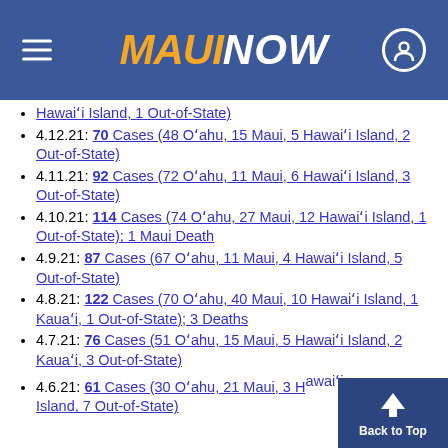MAUI NOW
Hawaiʻi Island, 1 Out-of-State)
4.12.21: 70 Cases (48 Oʻahu, 15 Maui, 5 Hawaiʻi Island, 2 Out-of-State)
4.11.21: 92 Cases (72 Oʻahu, 11 Maui, 6 Hawaiʻi Island, 3 Out-of-State)
4.10.21: 114 Cases (74 Oʻahu, 27 Maui, 12 Hawaiʻi Island, 1 Out-of-State); 1 Maui Death
4.9.21: 87 Cases (67 Oʻahu, 11 Maui, 4 Hawaiʻi Island, 5 Out-of-State)
4.8.21: 122 Cases (70 Oʻahu, 40 Maui, 10 Hawaiʻi Island, 1 Kauaʻi, 1 Out-of-State); 3 Deaths
4.7.21: 76 Cases (51 Oʻahu, 15 Maui, 5 Hawaiʻi Island, 2 Kauaʻi, 3 Out-of-State)
4.6.21: 61 Cases (30 Oʻahu, 21 Maui, 3 H... Island, 7 Out-of-State)